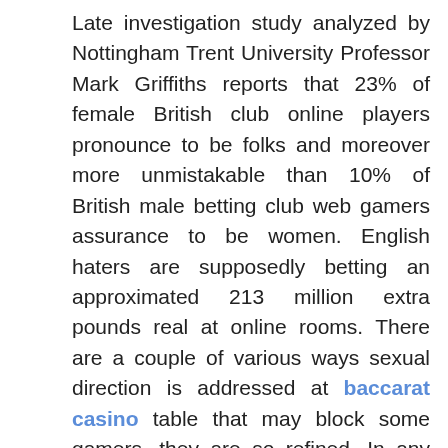Late investigation study analyzed by Nottingham Trent University Professor Mark Griffiths reports that 23% of female British club online players pronounce to be folks and moreover more unmistakable than 10% of British male betting club web gamers assurance to be women. English haters are supposedly betting an approximated 213 million extra pounds real at online rooms. There are a couple of various ways sexual direction is addressed at baccarat casino table that may block some gamers, they are so refined. In any case as much out of sight as they might be, they have a stunning effect in people's down play. An immixing player's picked mark has very been a superb indication of their character or presented mien – so The Terminator would totally show antagonism and moreover Bill Gates may recommend boundless money. Club online screen names can also exhibit sex for instance Online Casino Father, Hot Mamma, Club Woman, Mr.